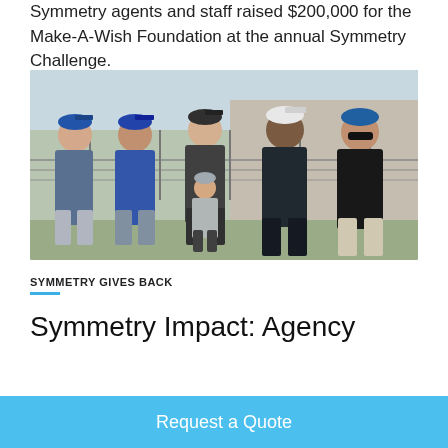Symmetry agents and staff raised $200,000 for the Make-A-Wish Foundation at the annual Symmetry Challenge.
[Figure (photo): Group photo of five adults and one child standing on a baseball field. Adults are wearing athletic/casual clothing and baseball caps. A young child in the center front is wearing an Adidas shirt and cap. Background shows a chain-link fence and building.]
SYMMETRY GIVES BACK
Symmetry Impact: Agency
Request a Quote